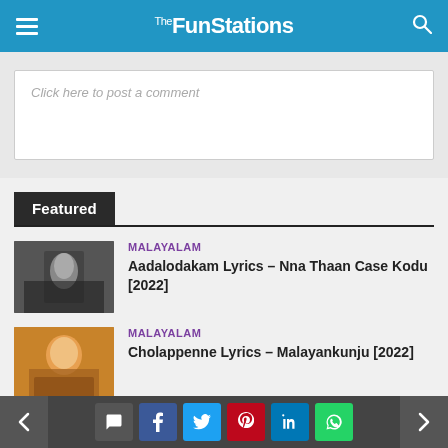The FunStations
Click here to post a comment
Featured
MALAYALAM
Aadalodakam Lyrics – Nna Thaan Case Kodu [2022]
MALAYALAM
Cholappenne Lyrics – Malayankunju [2022]
MALAYALAM
Pala Palli Thiruppalli Lyrics – Kaduva [2022]
< comment facebook twitter pinterest linkedin whatsapp >